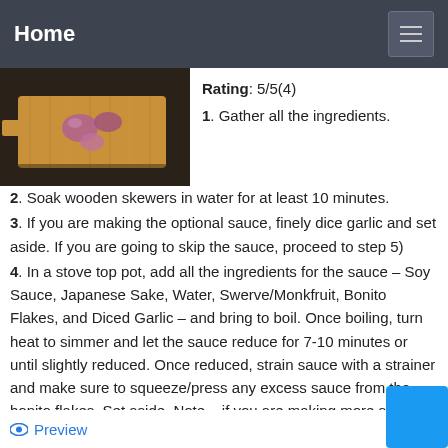Home
[Figure (photo): Food on a wooden cutting board, skewers with meat, dark background]
Rating: 5/5(4)
1. Gather all the ingredients.
2. Soak wooden skewers in water for at least 10 minutes.
3. If you are making the optional sauce, finely dice garlic and set aside. If you are going to skip the sauce, proceed to step 5)
4. In a stove top pot, add all the ingredients for the sauce – Soy Sauce, Japanese Sake, Water, Swerve/Monkfruit, Bonito Flakes, and Diced Garlic – and bring to boil. Once boiling, turn heat to simmer and let the sauce reduce for 7-10 minutes or until slightly reduced. Once reduced, strain sauce with a strainer and make sure to squeeze/press any excess sauce from the bonito flakes. Set aside. Note – if you are making more sauce, it will take longer to reduce
Preview